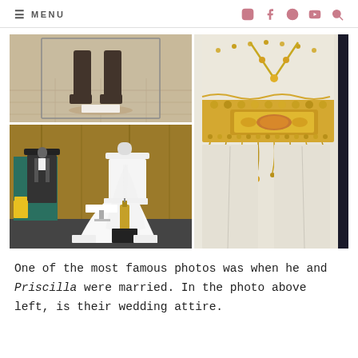≡ MENU  [social icons: instagram, facebook, pinterest, youtube, search]
[Figure (photo): Composite photo grid: top-left shows boots/legs of a mannequin in a display case; bottom-left shows two mannequins dressed in wedding attire — a dark suit with bow tie and a white wedding dress with veil, with a champagne bottle on a black pedestal; right side shows a close-up of an ornate jeweled belt/costume piece on white satin jumpsuit pants.]
One of the most famous photos was when he and Priscilla were married. In the photo above left, is their wedding attire.